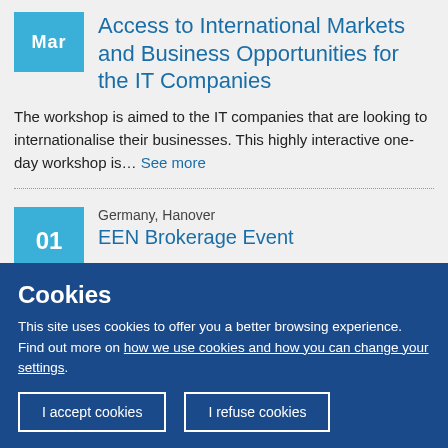Access to International Markets and Business Opportunities for the IT Companies
The workshop is aimed to the IT companies that are looking to internationalise their businesses. This highly interactive one-day workshop is... See more
Germany, Hanover
EEN Brokerage Event
Cookies
This site uses cookies to offer you a better browsing experience. Find out more on how we use cookies and how you can change your settings.